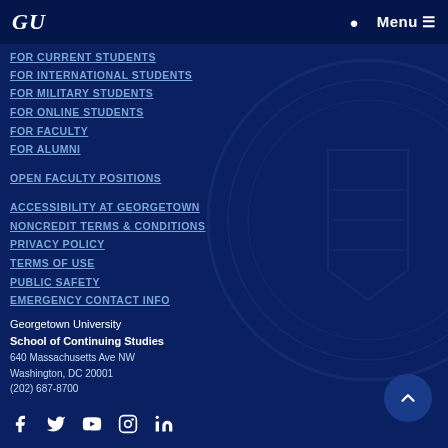GU | Menu
FOR CURRENT STUDENTS
FOR INTERNATIONAL STUDENTS
FOR MILITARY STUDENTS
FOR ONLINE STUDENTS
FOR FACULTY
FOR ALUMNI
OPEN FACULTY POSITIONS
ACCESSIBILITY AT GEORGETOWN
NONCREDIT TERMS & CONDITIONS
PRIVACY POLICY
TERMS OF USE
PUBLIC SAFETY
EMERGENCY CONTACT INFO
Georgetown University
School of Continuing Studies
640 Massachusetts Ave NW
Washington, DC 20001
(202) 687-8700
[Figure (infographic): Social media icons: Facebook, Twitter, YouTube, Instagram, LinkedIn]